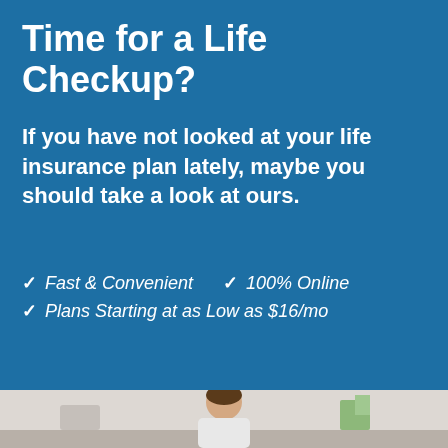Time for a Life Checkup?
If you have not looked at your life insurance plan lately, maybe you should take a look at ours.
Fast & Convenient
100% Online
Plans Starting at as Low as $16/mo
[Figure (photo): Bottom strip showing a person in a domestic/office setting]